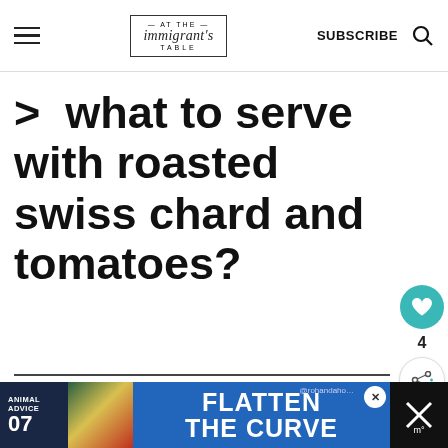at the immigrant's table — SUBSCRIBE
> what to serve with roasted swiss chard and tomatoes?
Rice
[Figure (screenshot): Ad banner: ANIMAL ADVICE 07 / FLATTEN THE CURVE @rohandaho]
[Figure (infographic): What's Next callout: Tofu and sundried...]